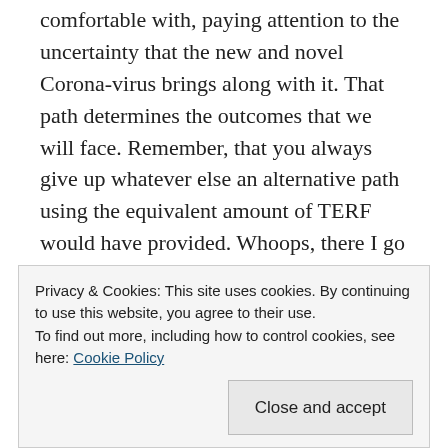Each of us must choose the path that we are comfortable with, paying attention to the uncertainty that the new and novel Corona-virus brings along with it. That path determines the outcomes that we will face. Remember, that you always give up whatever else an alternative path using the equivalent amount of TERF would have provided. Whoops, there I go is an economist again.
I woke up one morning last week in a really comfortable place. At my age and stage I've
Privacy & Cookies: This site uses cookies. By continuing to use this website, you agree to their use.
To find out more, including how to control cookies, see here: Cookie Policy
Close and accept